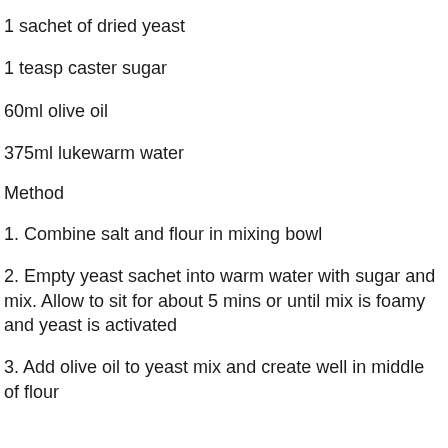1 sachet of dried yeast
1 teasp caster sugar
60ml olive oil
375ml lukewarm water
Method
1. Combine salt and flour in mixing bowl
2. Empty yeast sachet into warm water with sugar and mix. Allow to sit for about 5 mins or until mix is foamy and yeast is activated
3. Add olive oil to yeast mix and create well in middle of flour